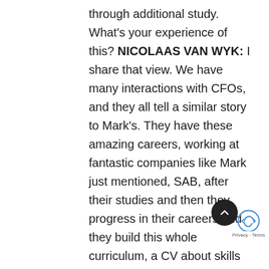through additional study. What's your experience of this? NICOLAAS VAN WYK: I share that view. We have many interactions with CFOs, and they all tell a similar story to Mark's. They have these amazing careers, working at fantastic companies like Mark just mentioned, SAB, after their studies and then they progress in their careers and they build this whole curriculum, a CV about skills and competencies. There was a study in Canada about moving from CA to CFO, and they tell the story just like Mark has explained. Many of then add MBAs, because it gives them the business angle that I suppose the qualification or designation didn't provide. So, with all of this SAIPA then